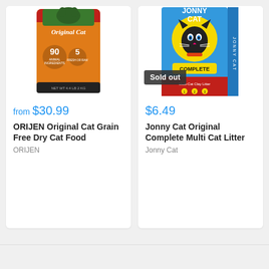[Figure (photo): ORIJEN Original Cat grain free dry cat food bag — orange bag with cat image]
from $30.99
ORIJEN Original Cat Grain Free Dry Cat Food
ORIJEN
[Figure (photo): Jonny Cat Original Complete Multi Cat Litter blue box with cat mascot logo, with 'Sold out' overlay badge]
$6.49
Jonny Cat Original Complete Multi Cat Litter
Jonny Cat